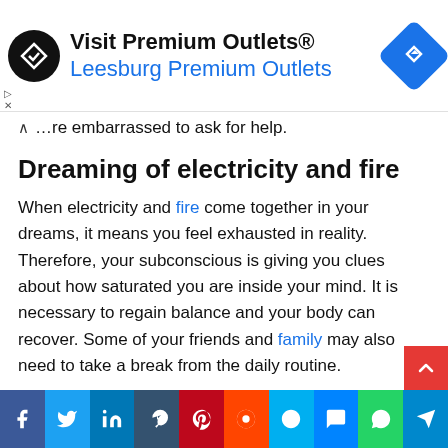[Figure (other): Advertisement banner for Visit Premium Outlets® / Leesburg Premium Outlets with logo and navigation icon]
you are embarrassed to ask for help.
Dreaming of electricity and fire
When electricity and fire come together in your dreams, it means you feel exhausted in reality. Therefore, your subconscious is giving you clues about how saturated you are inside your mind. It is necessary to regain balance and your body can recover. Some of your friends and family may also need to take a break from the daily routine.
Dreaming of static electricity
[Figure (other): Social media sharing bar at bottom with Facebook, Twitter, LinkedIn, Tumblr, Pinterest, Reddit, Skype, Messenger, WhatsApp, Telegram buttons]